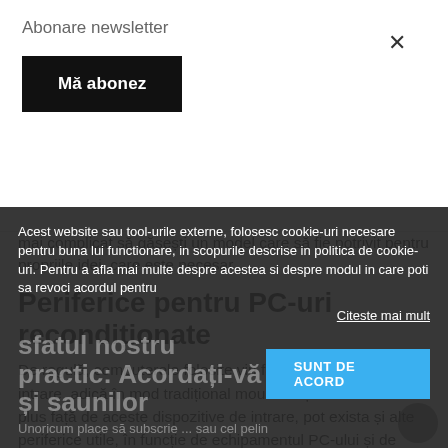Abonare newsletter
Mă abonez
mai complicat să găsești un model care să fie potrivit pentru propriile idei, care este necesar.
Periferice pentru PC-uri recondiționate
De regulă, computerele folosite vin fără dispozitive de intrare, adică în mod tradițional mouse-ul și tastatura. În plus față de aceste dispozitive de intrare, pot exista și alte periferice utile, în funcție de echipamentul PC-ului și de scopul intenționat de utilizare : un hub USB poate fi utilizat pentru a extinde numărul de porturi și, de asemenea, face conexiunea dispozitivelor USB și mai confortabilă
Acest website sau tool-urile externe, folosesc cookie-uri necesare pentru buna lui functionare, in scopurile descrise in politica de cookie-uri. Pentru a afla mai multe despre acestea si despre modul in care poti sa revoci acordul pentru
Citeste mai mult
SUNT DE ACORD
sfatul nostru practic: Acordati-va si saunilor
Unii cu place să subscrie ...  sau cel pelin